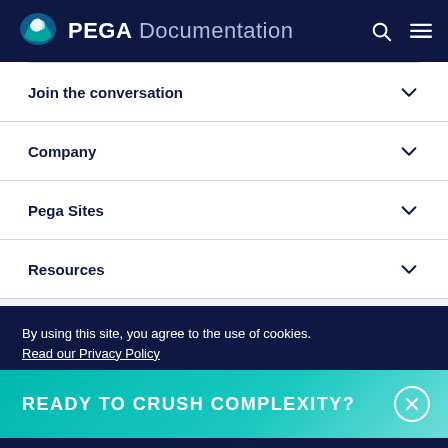PEGA Documentation
Join the conversation
Company
Pega Sites
Resources
Legal
READY TO CRUSH COMPLEXITY?
By using this site, you agree to the use of cookies. Read our Privacy Policy
Accept and continue
About cookies